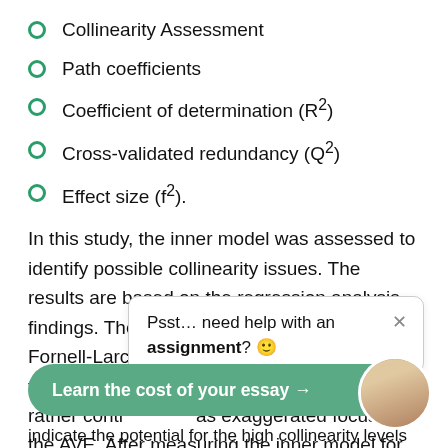Collinearity Assessment
Path coefficients
Coefficient of determination (R²)
Cross-validated redundancy (Q²)
Effect size (f²).
In this study, the inner model was assessed to identify possible collinearity issues. The results are based on the regression analysis findings. The reference was made to the Fornell-Larcker criterion (Hair et al. 2014). For formatively measured con[...] assessment is rather contr[...] as exaggerated focus on the AVE. After measuring the inner model for collinearity, it is necessary to refer to[...] in the need to indicate the potential for the high collinearity levels that